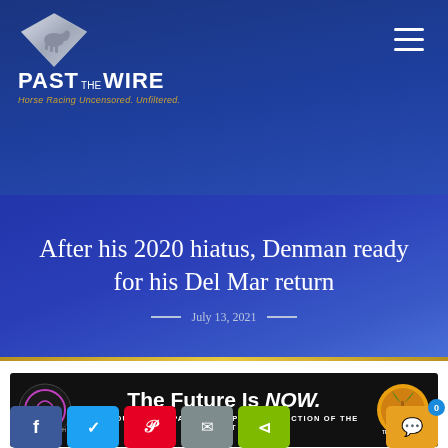PAST THE WIRE — Horse Racing Uncensored. Unfiltered.
After his 2020 hiatus, Denman ready for his Del Mar return
July 13, 2021
[Figure (advertisement): The Future Is NOW. THOROUGHBRED PARTNERSHIPS AT A FRACTION OF THE COST — Circle 8 Ranch ad banner on black background with logos]
[Figure (infographic): Social sharing buttons: Facebook, Twitter, Pinterest, Email, ShareThis, and a chat/comment button with badge showing 0]